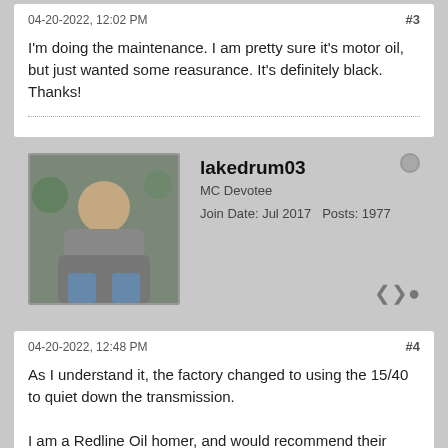04-20-2022, 12:02 PM
#3
I'm doing the maintenance. I am pretty sure it's motor oil, but just wanted some reasurance. It's definitely black.
Thanks!
lakedrum03
MC Devotee
Join Date: Jul 2017   Posts: 1977
04-20-2022, 12:48 PM
#4
As I understand it, the factory changed to using the 15/40 to quiet down the transmission.

I am a Redline Oil homer, and would recommend their MT90.
CantRepeat
Join Date: Jul 2008   Posts: 16534